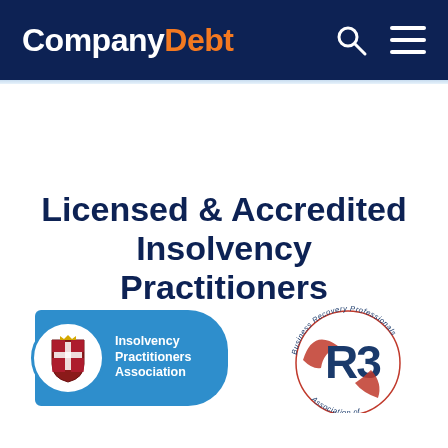CompanyDebt
Licensed & Accredited Insolvency Practitioners
[Figure (logo): Insolvency Practitioners Association badge - blue badge with coat of arms and white text reading 'Insolvency Practitioners Association']
[Figure (logo): R3 Association of Business Recovery Professionals logo - circular logo with R3 text in blue and red]